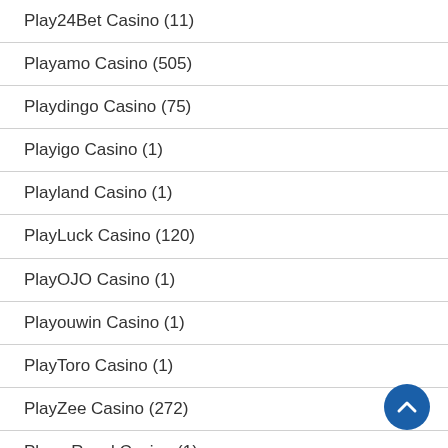Play24Bet Casino (11)
Playamo Casino (505)
Playdingo Casino (75)
Playigo Casino (1)
Playland Casino (1)
PlayLuck Casino (120)
PlayOJO Casino (1)
Playouwin Casino (1)
PlayToro Casino (1)
PlayZee Casino (272)
Plaza Royal Casino (1)
Plush Casino (1)
PnxBet Casino (1)
Pocket Casino EU (8)